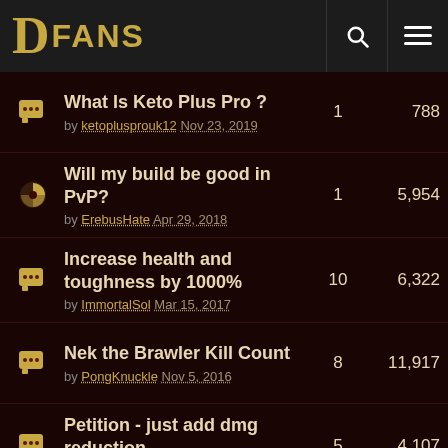DFANS
What Is Keto Plus Pro ? by ketoplusprouk12 Nov 23, 2019 | replies: 1 | views: 788
Will my build be good in PvP? by ErebusHate Apr 29, 2018 | replies: 1 | views: 5,954
Increase health and toughness by 1000% by ImmortalSol Mar 15, 2017 | replies: 10 | views: 6,322
Nek the Brawler Kill Count by PongKnuckle Nov 5, 2016 | replies: 8 | views: 11,917
Petition - just add dmg reduction by Manja87 Jan 20, 2017 | replies: 5 | views: 4,107
PvP in Hardcore. by Sedivh May 25, 2015 | replies: 12 | views: 11,369
Blizz by luugo86 Feb 1, 2015 | replies: 1 | views: 2,722